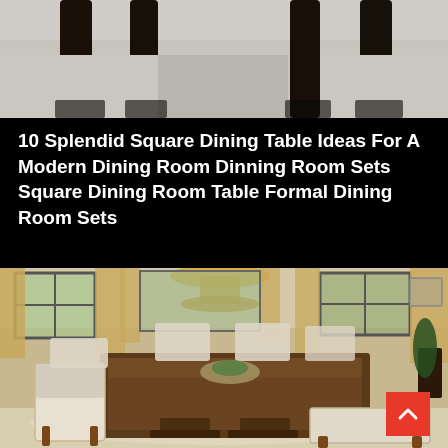[Figure (photo): Close-up photo of dark/black chair legs against a light background, partial view of upholstered chair seats]
10 Splendid Square Dining Table Ideas For A Modern Dining Room Dinning Room Sets Square Dining Room Table Formal Dining Room Sets
[Figure (photo): Photo of a modern farmhouse dining room with a large square/rectangular rustic wooden dining table, upholstered chairs with nail-head trim in cream/beige fabric, a matching bench, pendant lamp overhead, large windows with curtains, and a potted plant in the corner]